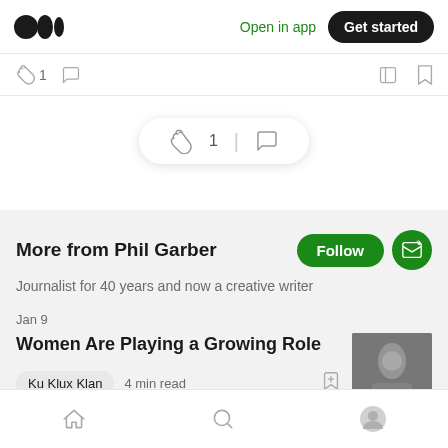Medium logo | Open in app | Get started
[Figure (screenshot): Article action bar with clap count (1), comment icon, share icon, bookmark icon]
[Figure (screenshot): White pill bar showing clap icon with count 1 and comment icon]
More from Phil Garber
Journalist for 40 years and now a creative writer
Jan 9
Women Are Playing a Growing Role
Ku Klux Klan  4 min read
Home | Search | Profile